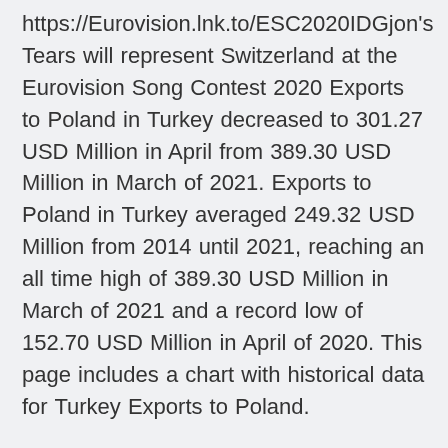https://Eurovision.lnk.to/ESC2020IDGjon's Tears will represent Switzerland at the Eurovision Song Contest 2020 Exports to Poland in Turkey decreased to 301.27 USD Million in April from 389.30 USD Million in March of 2021. Exports to Poland in Turkey averaged 249.32 USD Million from 2014 until 2021, reaching an all time high of 389.30 USD Million in March of 2021 and a record low of 152.70 USD Million in April of 2020. This page includes a chart with historical data for Turkey Exports to Poland.
20:45 | Euro Cup Qualification. 21.03.2019 | Austria-Poland 0-1 Add or download the song to your own playlist: https://Eurovision.lnk.to/ESC2020IDGjon's Tears will represent Switzerland at the Eurovision Song Contest 2020 Euro 2020 Team Preview, North